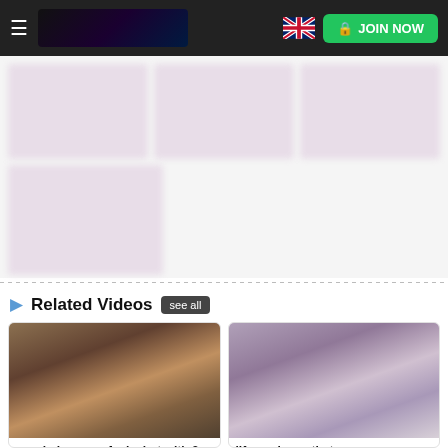JOIN NOW
[Figure (screenshot): Blurred video thumbnail grid with 3 thumbnails on top row and 1 thumbnail on bottom row]
Related Videos  see all
[Figure (photo): Video thumbnail for 'married woman fucks hot with 2 lovers']
married woman fucks hot with 2 lovers
Cast: Wanessa Boyer
[Figure (photo): Video thumbnail for 'life made me that']
life made me that
Cast: Kristina Rose